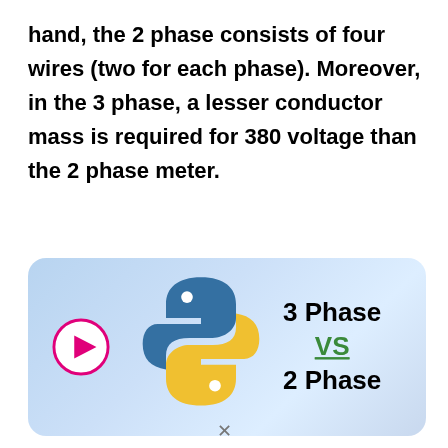hand, the 2 phase consists of four wires (two for each phase). Moreover, in the 3 phase, a lesser conductor mass is required for 380 voltage than the 2 phase meter.
[Figure (illustration): Video thumbnail showing a Python logo (blue and yellow snake) alongside text '3 Phase VS 2 Phase' with a play button on the left, on a light blue gradient background.]